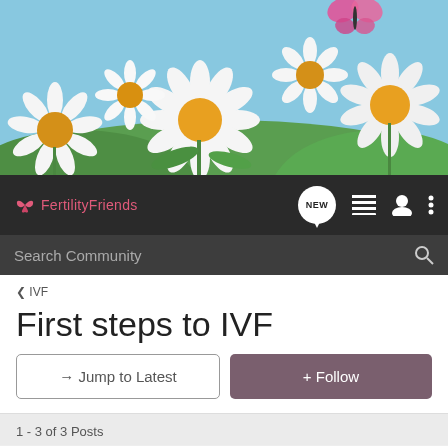[Figure (photo): Header banner photo of white daisy flowers with yellow centers on a blue sky background, with a pink butterfly in the upper right area]
FertilityFriends navigation bar with logo, NEW button, list icon, user icon, and more options icon
Search Community
< IVF
First steps to IVF
→ Jump to Latest
+ Follow
1 - 3 of 3 Posts
Smurfs · Registered
Joined Oct 19, 2004 · 1,591 Posts